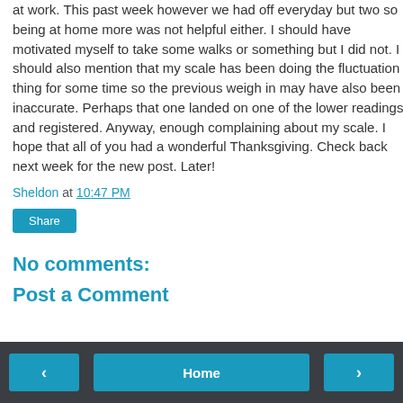at work. This past week however we had off everyday but two so being at home more was not helpful either. I should have motivated myself to take some walks or something but I did not. I should also mention that my scale has been doing the fluctuation thing for some time so the previous weigh in may have also been inaccurate. Perhaps that one landed on one of the lower readings and registered. Anyway, enough complaining about my scale. I hope that all of you had a wonderful Thanksgiving. Check back next week for the new post. Later!
Sheldon at 10:47 PM
Share
No comments:
Post a Comment
< Home >